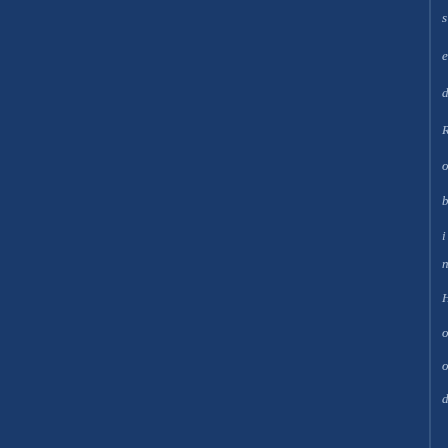[Figure (other): Dark navy blue background page with two faint vertical lines and rotated italic text reading 'sedRobinHoodairportnearDoncast' running vertically along the right portion of the page]